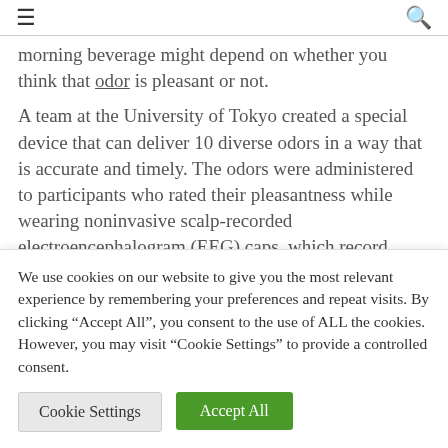≡  🔍
morning beverage might depend on whether you think that odor is pleasant or not.
A team at the University of Tokyo created a special device that can deliver 10 diverse odors in a way that is accurate and timely. The odors were administered to participants who rated their pleasantness while wearing noninvasive scalp-recorded electroencephalogram (EEG) caps, which record signals inside the brain. The team was then able to
We use cookies on our website to give you the most relevant experience by remembering your preferences and repeat visits. By clicking "Accept All", you consent to the use of ALL the cookies. However, you may visit "Cookie Settings" to provide a controlled consent.
Cookie Settings
Accept All